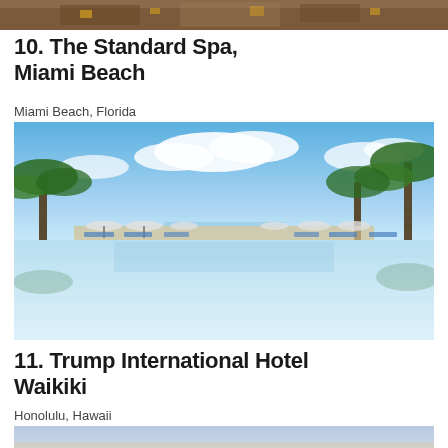[Figure (photo): Top portion of a hotel/resort photo, partially cropped at the top of the page]
10. The Standard Spa, Miami Beach
Miami Beach, Florida
[Figure (photo): Infinity pool with palm trees, lounge chairs, and umbrellas at The Standard Spa Miami Beach. Blue sky with white clouds reflected in calm pool water.]
11. Trump International Hotel Waikiki
Honolulu, Hawaii
[Figure (photo): Partial view of Trump International Hotel Waikiki building and beach/ocean area, cropped at bottom of page]